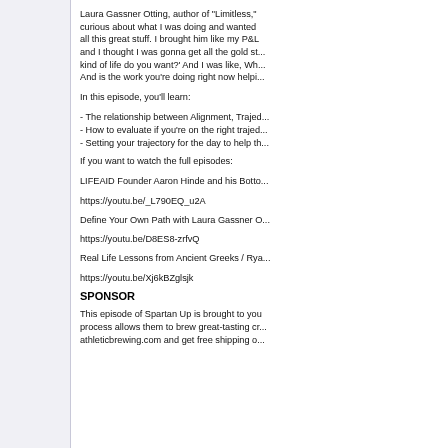Laura Gassner Otting, author of "Limitless," curious about what I was doing and wanted all this great stuff. I brought him like my P&L and I thought I was gonna get all the gold st... kind of life do you want?' And I was like, Wh... And is the work you're doing right now helpi...
In this episode, you'll learn:
- The relationship between Alignment, Trajed...
- How to evaluate if you're on the right trajed...
- Setting your trajectory for the day to help th...
If you want to watch the full episodes:
LIFEAID Founder Aaron Hinde and his Botto...
https://youtu.be/_L790EQ_u2A
Define Your Own Path with Laura Gassner O...
https://youtu.be/D8ES8-zrfvQ
Real Life Lessons from Ancient Greeks / Rya...
https://youtu.be/Xj6kBZglsjk
SPONSOR
This episode of Spartan Up is brought to you process allows them to brew great-tasting cr... athleticbrewing.com and get free shipping o...